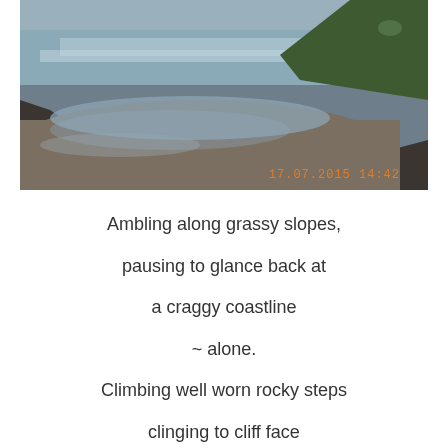[Figure (photo): Coastal beach scene with wet sand, calm sea water, rocky outcrops and green hills in background. Camera timestamp '17.07.2015 14:42' overlaid in orange text at bottom right.]
Ambling along grassy slopes,

pausing to glance back at

a craggy coastline

~ alone.

Climbing well worn rocky steps

clinging to cliff face